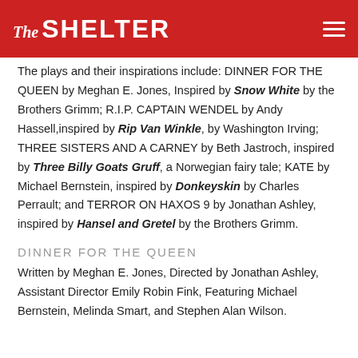The SHELTER
The plays and their inspirations include: DINNER FOR THE QUEEN by Meghan E. Jones, Inspired by Snow White by the Brothers Grimm; R.I.P. CAPTAIN WENDEL by Andy Hassell, inspired by Rip Van Winkle, by Washington Irving; THREE SISTERS AND A CARNEY by Beth Jastroch, inspired by Three Billy Goats Gruff, a Norwegian fairy tale; KATE by Michael Bernstein, inspired by Donkeyskin by Charles Perrault; and TERROR ON HAXOS 9 by Jonathan Ashley, inspired by Hansel and Gretel by the Brothers Grimm.
DINNER FOR THE QUEEN
Written by Meghan E. Jones, Directed by Jonathan Ashley, Assistant Director Emily Robin Fink, Featuring Michael Bernstein, Melinda Smart, and Stephen Alan Wilson.